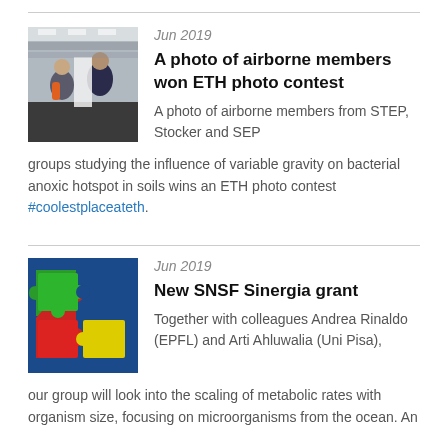[Figure (photo): Photo of two people in a laboratory/facility setting, appearing to float or jump, studying airborne conditions]
Jun 2019
A photo of airborne members won ETH photo contest
A photo of airborne members from STEP, Stocker and SEP groups studying the influence of variable gravity on bacterial anoxic hotspot in soils wins an ETH photo contest #coolestplaceateth.
[Figure (photo): Colorful interlocking puzzle pieces in red, green, yellow, and blue]
Jun 2019
New SNSF Sinergia grant
Together with colleagues Andrea Rinaldo (EPFL) and Arti Ahluwalia (Uni Pisa), our group will look into the scaling of metabolic rates with organism size, focusing on microorganisms from the ocean. An